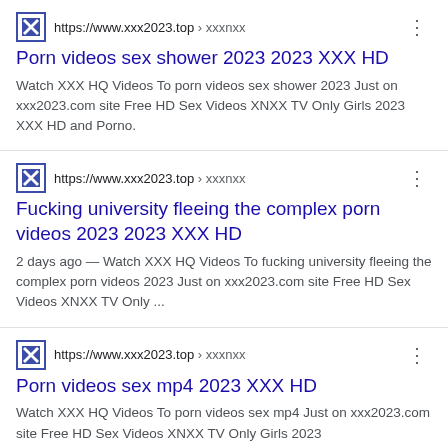https://www.xxx2023.top › xxxnxx
Porn videos sex shower 2023 2023 XXX HD
Watch XXX HQ Videos To porn videos sex shower 2023 Just on xxx2023.com site Free HD Sex Videos XNXX TV Only Girls 2023 XXX HD and Porno.
https://www.xxx2023.top › xxxnxx
Fucking university fleeing the complex porn videos 2023 2023 XXX HD
2 days ago — Watch XXX HQ Videos To fucking university fleeing the complex porn videos 2023 Just on xxx2023.com site Free HD Sex Videos XNXX TV Only ...
https://www.xxx2023.top › xxxnxx
Porn videos sex mp4 2023 XXX HD
Watch XXX HQ Videos To porn videos sex mp4 Just on xxx2023.com site Free HD Sex Videos XNXX TV Only Girls 2023